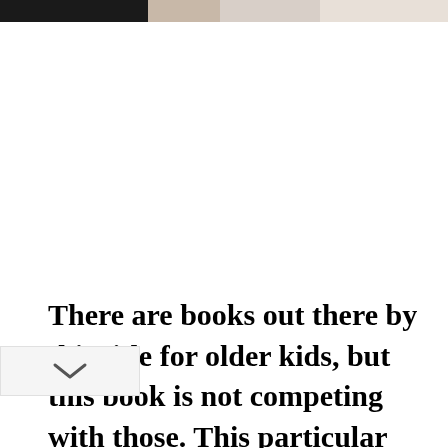[Figure (photo): Partial photo visible at the top of the page, showing a cropped image with dark edges on sides and light center area.]
There are books out there by this title for older kids, but this book is not competing with those. This particular book is geared ard the younger crowd. It is a well written